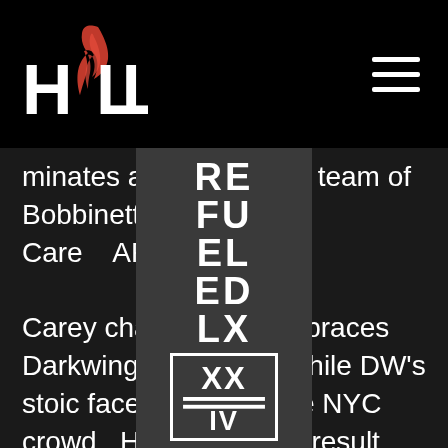HOW (logo with flame) — hamburger menu
minates and oy   this team of Bobbinette Care   ARRRRKWING.
[Figure (other): Dropdown navigation overlay showing REFUELED LX with a boxed XX IV logo, EVENT DATE: JANUARY]
Carey charges th   embraces Darkwing.  She h   y while DW’s stoic face looks   at the NYC crowd.  Hollywo   : the result and walks off.  Mear   ey walks over to the dejected Eli D   she pushes Boettcher out of   nd offers to help Eli up, and Dresc   t first but then